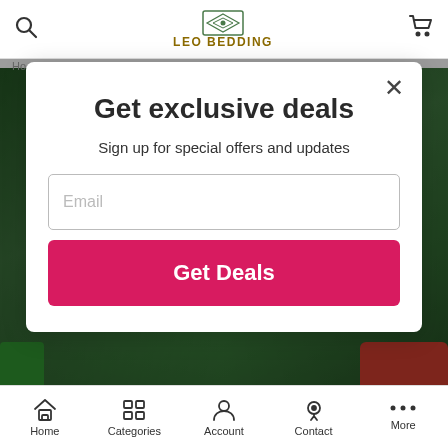[Figure (screenshot): Leo Bedding website header with search icon, logo with diamond pattern, and cart icon]
Ho...
[Figure (photo): Background photo showing people outdoors in green setting]
Get exclusive deals
Sign up for special offers and updates
Email
Get Deals
[Figure (screenshot): Bottom navigation bar with Home, Categories, Account, Contact, More icons]